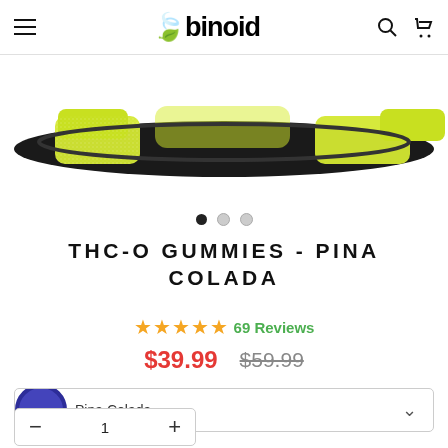binoid
[Figure (photo): Yellow gummy candies on a dark circular tray, product photo for THC-O Gummies Pina Colada]
THC-O GUMMIES - PINA COLADA
★★★★★ 69 Reviews
$39.99  $59.99
Pina Colada
1